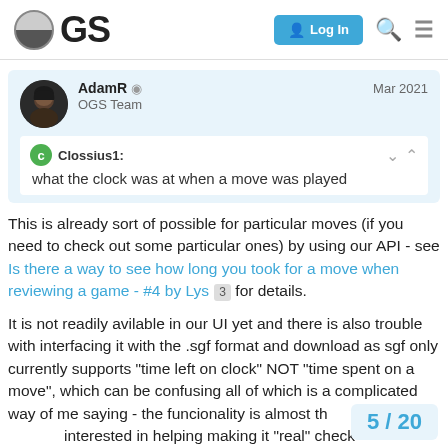OGS Log In
AdamR ◉ OGS Team Mar 2021
Clossius1: what the clock was at when a move was played
This is already sort of possible for particular moves (if you need to check out some particular ones) by using our API - see Is there a way to see how long you took for a move when reviewing a game - #4 by Lys 3 for details.
It is not readily avilable in our UI yet and there is also trouble with interfacing it with the .sgf format and download as sgf only currently supports “time left on clock” NOT “time spent on a move”, which can be confusing all of which is a complicated way of me saying - the funcionality is almost th interested in helping making it “real” check
5 / 20